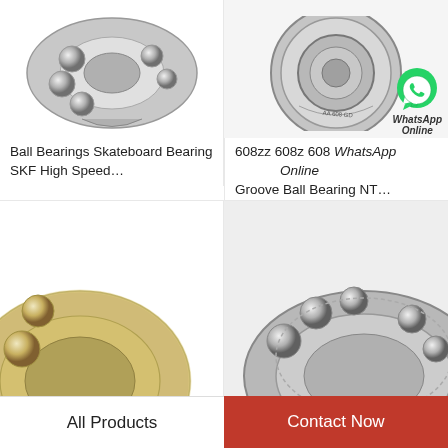[Figure (photo): Silver ball bearing (skateboard/open type) shown at an angle with visible ball bearings]
Ball Bearings Skateboard Bearing SKF High Speed…
[Figure (photo): 608zz deep groove ball bearing viewed from front, circular disc shape, with WhatsApp Online overlay]
608zz 608z 608 Deep Groove Ball Bearing NT…
[Figure (photo): Partial view of a metallic ball bearing with gold/chrome tones, bottom left]
[Figure (photo): Partial view of a silver open ball bearing, bottom right]
All Products
Contact Now